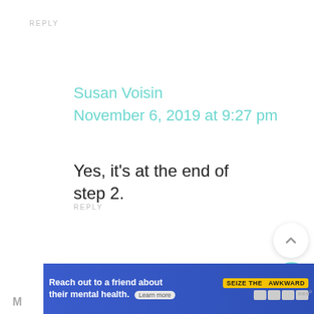REPLY
Susan Voisin
November 6, 2019 at 9:27 pm
Yes, it's at the end of step 2.
REPLY
[Figure (screenshot): Up arrow button (scroll to top)]
732
[Figure (screenshot): Heart/favorite button]
[Figure (screenshot): Search button (teal circle with magnifying glass icon)]
[Figure (screenshot): Advertisement banner: Reach out to a friend about their mental health. Seize the Awkward. Learn more.]